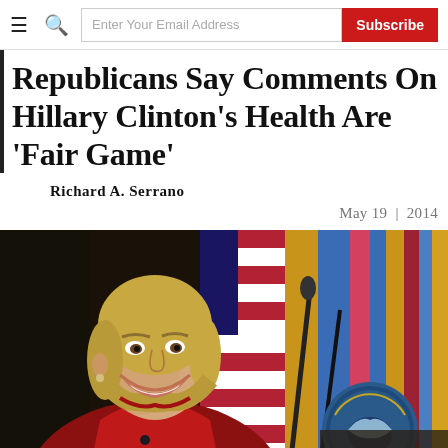Enter Your Email Address | Subscribe
Republicans Say Comments On Hillary Clinton's Health Are 'Fair Game'
Richard A. Serrano
May 19 | 2014
[Figure (photo): Hillary Clinton smiling at a podium with Department of Defense seal, wearing a red jacket, with flags in the background]